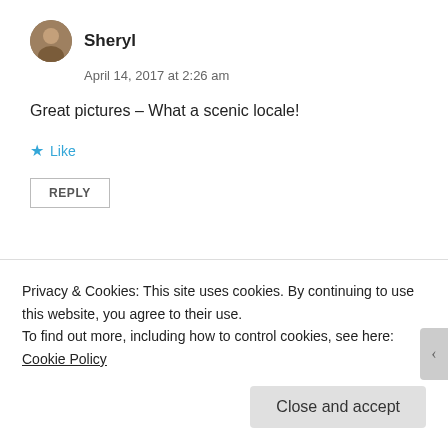[Figure (photo): Circular avatar photo of Sheryl, a woman with brown hair]
Sheryl
April 14, 2017 at 2:26 am
Great pictures – What a scenic locale!
Like
REPLY
[Figure (photo): Circular avatar photo of kaydeerouge]
kaydeerouge
Privacy & Cookies: This site uses cookies. By continuing to use this website, you agree to their use.
To find out more, including how to control cookies, see here: Cookie Policy
Close and accept